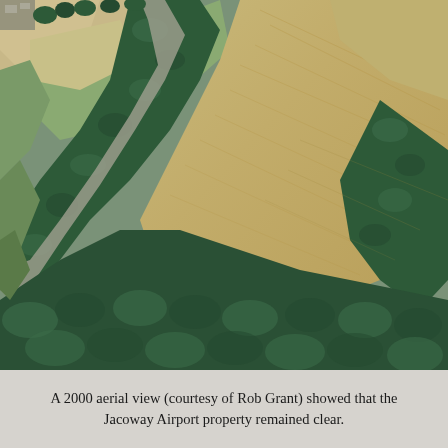[Figure (photo): Aerial photograph from 2000 showing the Jacoway Airport property. The image shows agricultural fields (tan/brown tilled land) separated by rows of dark green trees and a road or path running diagonally from upper-left to lower-right. The upper-left corner shows some structures and cleared sandy/gravel areas. The landscape is viewed from above at an oblique angle.]
A 2000 aerial view (courtesy of Rob Grant) showed that the Jacoway Airport property remained clear.